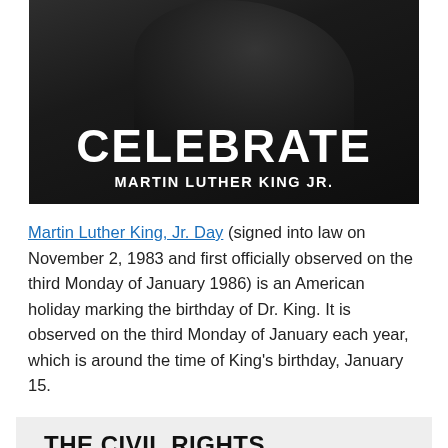[Figure (photo): Black and white photo of Martin Luther King Jr. with overlaid text reading 'CELEBRATE' in large bold white letters and 'MARTIN LUTHER KING JR.' below in smaller bold white letters.]
Martin Luther King, Jr. Day (signed into law on November 2, 1983 and first officially observed on the third Monday of January 1986) is an American holiday marking the birthday of Dr. King. It is observed on the third Monday of January each year, which is around the time of King's birthday, January 15.
THE CIVIL RIGHTS